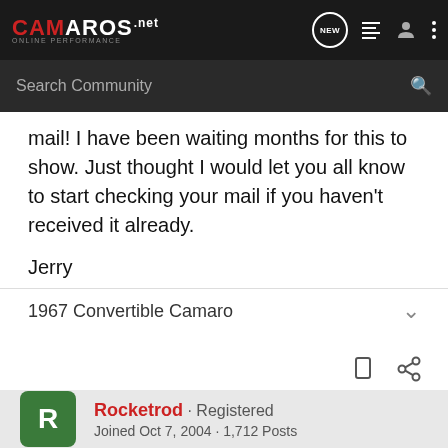CAMAROS.net ONLINE PERFORMANCE
mail! I have been waiting months for this to show. Just thought I would let you all know to start checking your mail if you haven't received it already.
Jerry
1967 Convertible Camaro
Rocketrod · Registered
Joined Oct 7, 2004 · 1,712 Posts